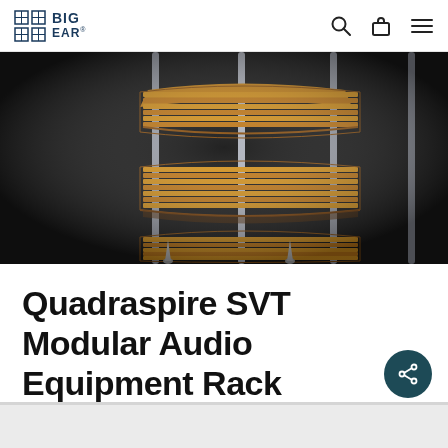BIG EAR
[Figure (photo): A wooden audio equipment rack with bamboo/wood shelves supported by metal poles, photographed against a dark background. The rack has multiple tiers with slatted bamboo shelves.]
Quadraspire SVT Modular Audio Equipment Rack
[Figure (photo): Partial view of another product image at the bottom of the page, light gray background visible.]